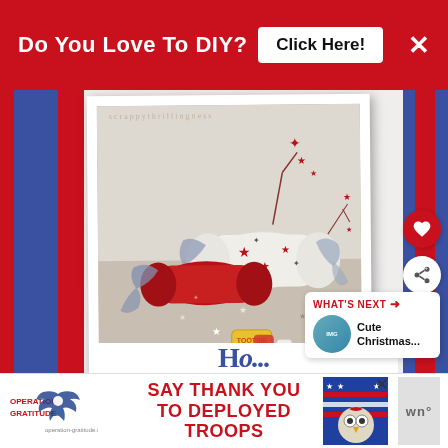Do You Love To DIY?  Click Here!  ×
[Figure (photo): Polaroid-style photo of patriotic red, white and blue Christmas crackers/party poppers with stars decoration and small candies scattered around them on a white surface]
What's Next → Cute Christmas...
Ho...
OPERATION GRATITUDE  SAY THANK YOU TO DEPLOYED TROOPS